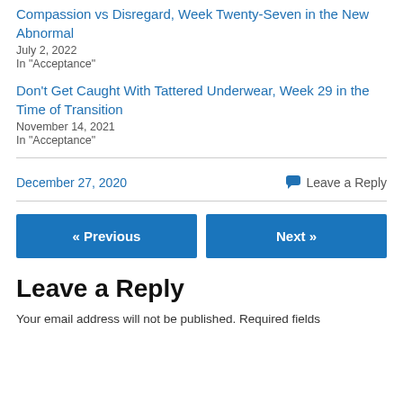Compassion vs Disregard, Week Twenty-Seven in the New Abnormal
July 2, 2022
In "Acceptance"
Don't Get Caught With Tattered Underwear, Week 29 in the Time of Transition
November 14, 2021
In "Acceptance"
December 27, 2020
💬 Leave a Reply
« Previous
Next »
Leave a Reply
Your email address will not be published. Required fields